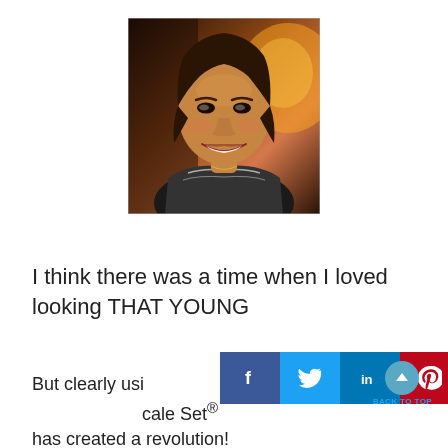[Figure (photo): Portrait photo of a smiling woman with brown hair, wearing a black and white patterned top, photographed in a warm-lit indoor setting]
I think there was a time when I loved looking THAT YOUNG
But clearly usi[ng] cale Set® has created a revolution!